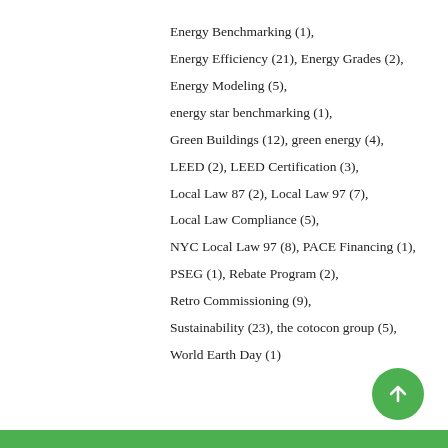Energy Benchmarking (1),
Energy Efficiency (21), Energy Grades (2),
Energy Modeling (5),
energy star benchmarking (1),
Green Buildings (12), green energy (4),
LEED (2), LEED Certification (3),
Local Law 87 (2), Local Law 97 (7),
Local Law Compliance (5),
NYC Local Law 97 (8), PACE Financing (1),
PSEG (1), Rebate Program (2),
Retro Commissioning (9),
Sustainability (23), the cotocon group (5),
World Earth Day (1)